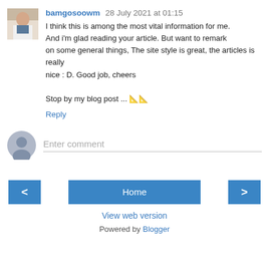bamgosoowm  28 July 2021 at 01:15
I think this is among the most vital information for me. And i'm glad reading your article. But want to remark on some general things, The site style is great, the articles is really
nice : D. Good job, cheers

Stop by my blog post ... 📐📐
Reply
Enter comment
Home
View web version
Powered by Blogger